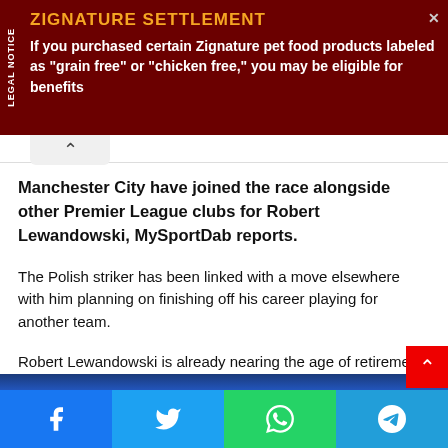[Figure (other): Advertisement banner for Zignature Settlement. Dark red background with 'LEGAL NOTICE' text rotated vertically on left side. Yellow-orange title 'ZIGNATURE SETTLEMENT'. White body text: 'If you purchased certain Zignature pet food products labeled as "grain free" or "chicken free," you may be eligible for benefits']
Manchester City have joined the race alongside other Premier League clubs for Robert Lewandowski, MySportDab reports.
The Polish striker has been linked with a move elsewhere with him planning on finishing off his career playing for another team.
Robert Lewandowski is already nearing the age of retirement and he is hoping to secure a move to another club before he hang up his boost.